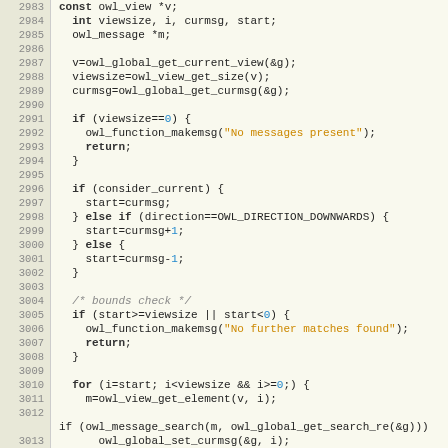[Figure (screenshot): Source code listing in C showing lines 2983-3014, featuring syntax-highlighted code with keyword highlighting, string literals in orange, and numeric literals in blue.]